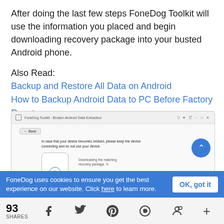After doing the last few steps FoneDog Toolkit will use the information you placed and begin downloading recovery package into your busted Android phone.
Also Read:
Backup and Restore All Data on Android
How to Backup Android Data to PC Before Factory Reset
[Figure (screenshot): FoneDog Toolkit - Broken Android Data Extraction window showing a phone downloading recovery package with message: In case that your device becomes bricked, please keep the device connecting and do not use your device. Downloading the matching recovery package.]
FoneDog uses cookies to ensure you get the best experience on our website. Click here to learn more.
93 SHARES